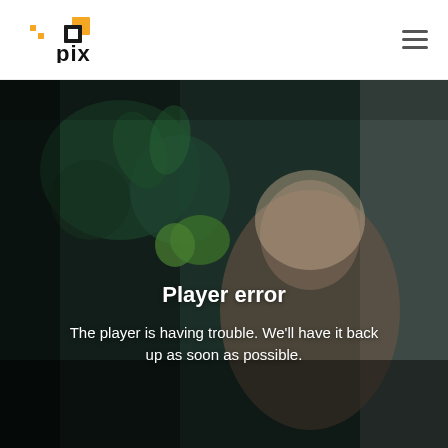[Figure (logo): PIX logo with orange square icon and bold black 'pix' text]
[Figure (screenshot): Video player area showing a dark scene with a person and plants in the background, overlaid with a player error message]
Player error
The player is having trouble. We'll have it back up as soon as possible.